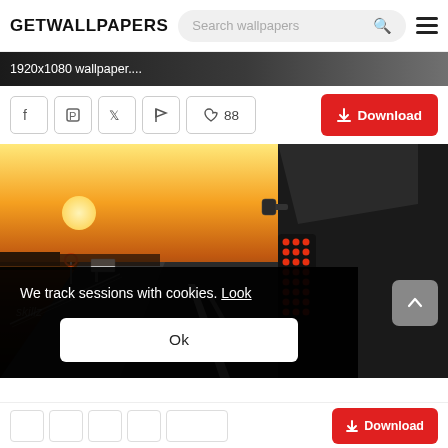GETWALLPAPERS
1920x1080 wallpaper....
88
Download
[Figure (photo): Car rear taillight on a highway at sunset, watermark 'skillz' visible]
We track sessions with cookies. Look
Ok
Download